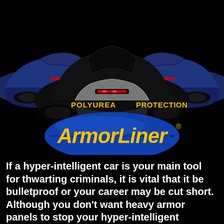[Figure (photo): Front view of a black futuristic car (KITT from Knight Rider) with two blue sports cars on either side. Text 'POLYUREA' appears on the left side of the hood and 'PROTECTION' on the right side, both in yellow lettering.]
[Figure (logo): ArmorLiner logo: yellow italic bold text 'ArmorLiner' with a registered trademark symbol, on a blue oval/ellipse background.]
If a hyper-intelligent car is your main tool for thwarting criminals, it is vital that it be bulletproof or your career may be cut short. Although you don't want heavy armor panels to stop your hyper-intelligent vehicle from being super-fast and high-performance.